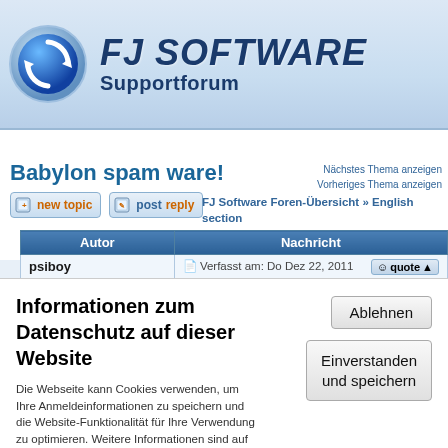[Figure (logo): FJ Software Supportforum logo with blue circular arrow icon and bold italic text]
Homepage • Suchen • FAQ • Mitgliederliste • Registrieren • Login
Babylon spam ware!
Nächstes Thema anzeigen
Vorheriges Thema anzeigen
FJ Software Foren-Übersicht » English section
| Autor | Nachricht |
| --- | --- |
| psiboy | Verfasst am: Do Dez 22, 2011 |
Informationen zum Datenschutz auf dieser Website
Die Webseite kann Cookies verwenden, um Ihre Anmeldeinformationen zu speichern und die Website-Funktionalität für Ihre Verwendung zu optimieren. Weitere Informationen sind auf folgenden Seiten verfügbar Datenschutz und Cookies